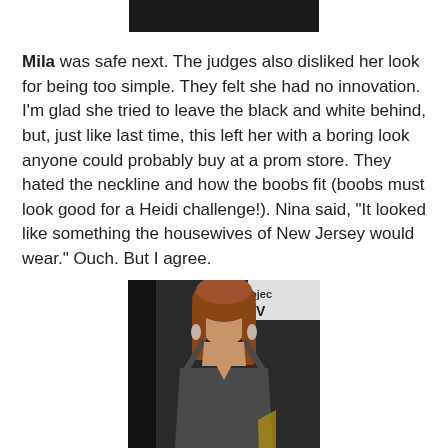[Figure (photo): Partial top image cropped at the top of the page, dark/black background]
Mila was safe next. The judges also disliked her look for being too simple. They felt she had no innovation. I'm glad she tried to leave the black and white behind, but, just like last time, this left her with a boring look anyone could probably buy at a prom store. They hated the neckline and how the boobs fit (boobs must look good for a Heidi challenge!). Nina said, "It looked like something the housewives of New Jersey would wear." Ouch. But I agree.
[Figure (photo): Fashion runway photo of a model with auburn/red hair wearing a dark charcoal grey deep-V spaghetti strap dress, with a Project Runway backdrop visible in the background]